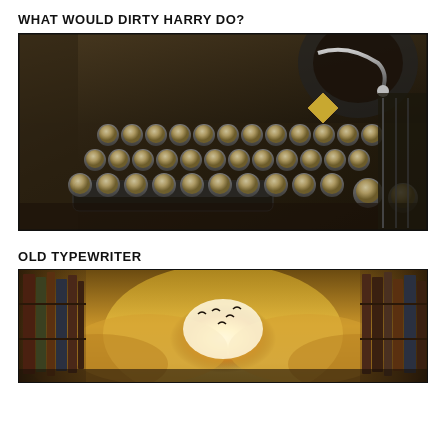WHAT WOULD DIRTY HARRY DO?
[Figure (photo): Close-up photograph of an old vintage typewriter keyboard with round metal keys and dark body, with a small diamond-shaped emblem visible on the side]
OLD TYPEWRITER
[Figure (photo): Fantasy illustration of a dramatic scene with bookshelves on either side, bright golden sunlight breaking through clouds in the center, with silhouettes of birds flying toward the light]